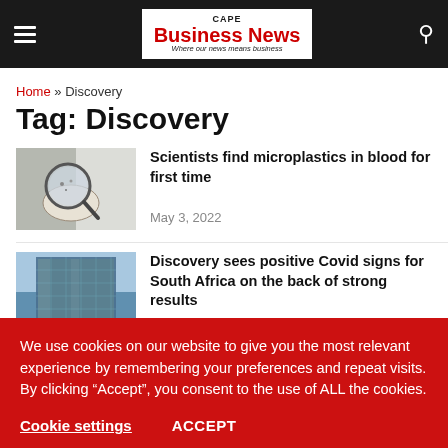CAPE Business News — Where our news means business
Home » Discovery
Tag: Discovery
[Figure (photo): Hand holding a magnifying glass over a surface, examining small particles]
Scientists find microplastics in blood for first time
May 3, 2022
[Figure (photo): Modern glass office building photographed from below against a blue sky]
Discovery sees positive Covid signs for South Africa on the back of strong results
We use cookies on our website to give you the most relevant experience by remembering your preferences and repeat visits. By clicking “Accept”, you consent to the use of ALL the cookies.
Cookie settings   ACCEPT